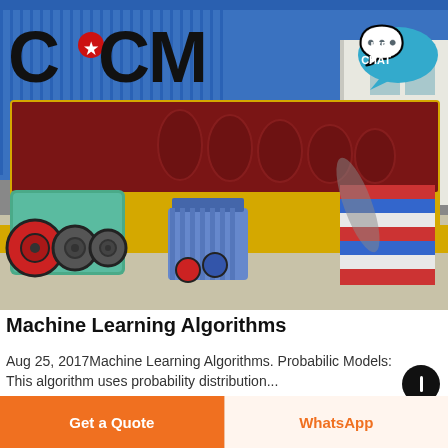[Figure (photo): Industrial screw conveyor / spiral classifier machine painted yellow with dark red trough, mounted on a yellow frame. Green gearbox and blue electric motor visible at front left. 'CCM' brand logo with red star in upper left. 'LIVE CHAT' bubble in upper right. Industrial facility background with blue corrugated metal wall. A striped bag visible in lower right.]
Machine Learning Algorithms
Aug 25, 2017Machine Learning Algorithms. Probabilistic Models: This algorithm uses probability distribution...